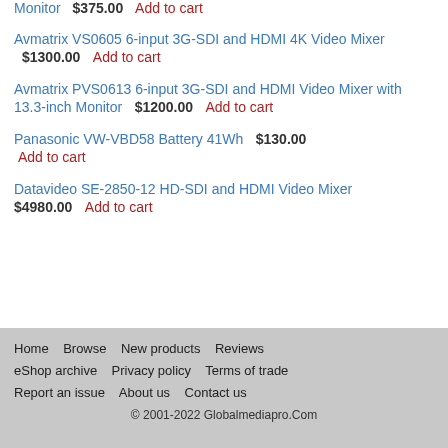Monitor  $375.00  Add to cart
Avmatrix VS0605 6-input 3G-SDI and HDMI 4K Video Mixer  $1300.00  Add to cart
Avmatrix PVS0613 6-input 3G-SDI and HDMI Video Mixer with 13.3-inch Monitor  $1200.00  Add to cart
Panasonic VW-VBD58 Battery 41Wh  $130.00  Add to cart
Datavideo SE-2850-12 HD-SDI and HDMI Video Mixer  $4980.00  Add to cart
Home  Browse  New products  Reviews  eShop archive  Privacy policy  Terms of trade  Report an issue  About us  Contact us  © 2001-2022 Globalmediapro.Com